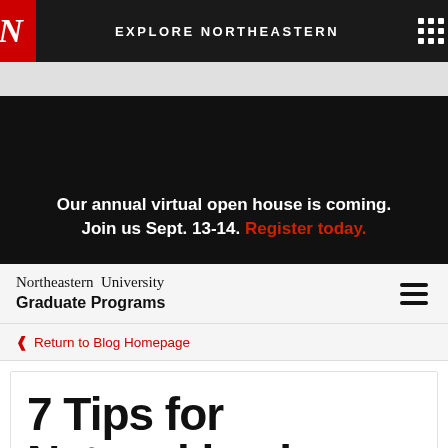EXPLORE NORTHEASTERN
[Figure (screenshot): Northeastern University dark banner with virtual open house announcement]
Our annual virtual open house is coming. Join us Sept. 13-14. Register today.
Northeastern University Graduate Programs
Return to Blog Homepage
7 Tips for Networking in an